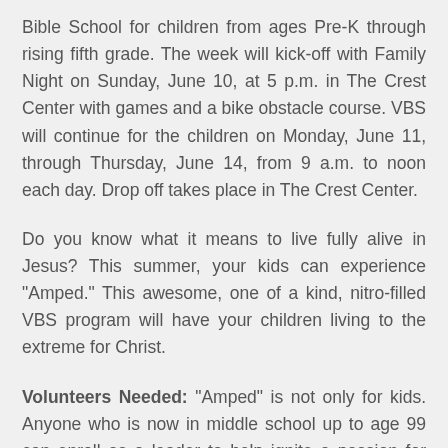Bible School for children from ages Pre-K through rising fifth grade. The week will kick-off with Family Night on Sunday, June 10, at 5 p.m. in The Crest Center with games and a bike obstacle course. VBS will continue for the children on Monday, June 11, through Thursday, June 14, from 9 a.m. to noon each day. Drop off takes place in The Crest Center.
Do you know what it means to live fully alive in Jesus? This summer, your kids can experience "Amped." This awesome, one of a kind, nitro-filled VBS program will have your children living to the extreme for Christ.
Volunteers Needed: "Amped" is not only for kids. Anyone who is now in middle school up to age 99 can enroll as a leader to help ignite a passion for Jesus in the children. Volunteers will have a ton of fun leading